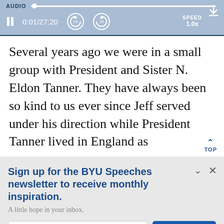[Figure (screenshot): Audio player UI with progress bar, pause button, time display 0:01/27:20, skip-back and skip-forward 15s buttons, and SPEED 1.0x control on a blue background with a download icon]
Several years ago we were in a small group with President and Sister N. Eldon Tanner. They have always been so kind to us ever since Jeff served under his direction while President Tanner lived in England as
Sign up for the BYU Speeches newsletter to receive monthly inspiration.
A little hope in your inbox.
Enter your email
SUBSCRIBE